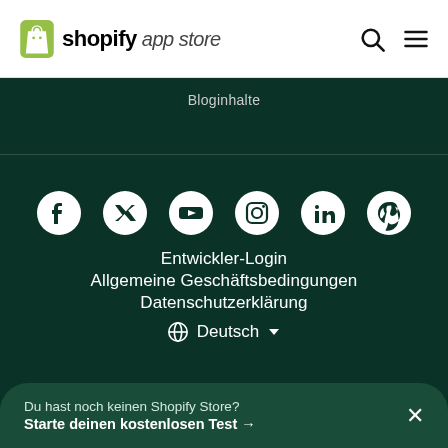[Figure (logo): Shopify App Store logo with green shopping bag icon]
Bloginhalte
[Figure (infographic): Social media icons row: Facebook, Twitter, YouTube, Instagram, LinkedIn, Pinterest]
Entwickler-Login
Allgemeine Geschäftsbedingungen
Datenschutzerklärung
🌐 Deutsch ▼
Du hast noch keinen Shopify Store?
Starte deinen kostenlosen Test →